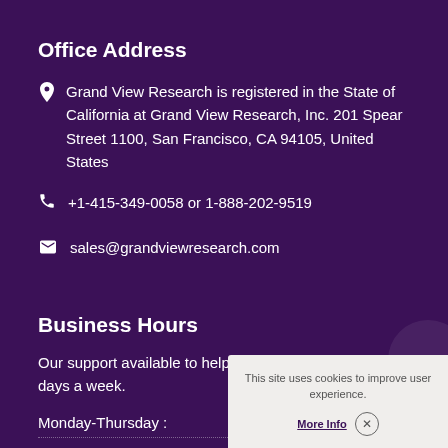Office Address
Grand View Research is registered in the State of California at Grand View Research, Inc. 201 Spear Street 1100, San Francisco, CA 94105, United States
+1-415-349-0058 or 1-888-202-9519
sales@grandviewresearch.com
Business Hours
Our support available to help you 24 hours a day, five days a week.
Monday-Thursday :
This site uses cookies to improve user experience.
More Info  ✕